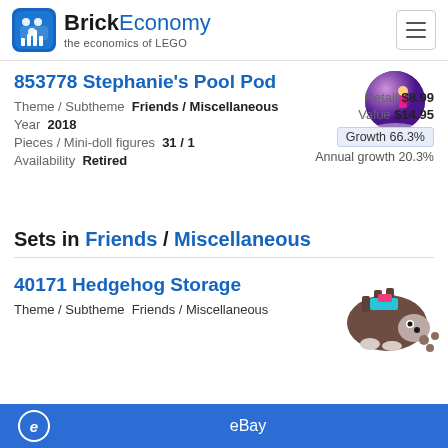BrickEconomy – the economics of LEGO
853778 Stephanie's Pool Pod
Theme / Subtheme  Friends / Miscellaneous
Year  2018
Pieces / Mini-doll figures  31 / 1
Availability  Retired
Retail $8.99
Value $14.95
Growth 66.3%
Annual growth 20.3%
[Figure (photo): LEGO 853778 Stephanie's Pool Pod product image – spherical purple pod with Stephanie mini-doll figure]
Sets in Friends / Miscellaneous
40171 Hedgehog Storage
Theme / Subtheme  Friends / Miscellaneous
[Figure (photo): LEGO 40171 Hedgehog Storage product image – brown hedgehog shaped storage box with small LEGO acorns]
eBay